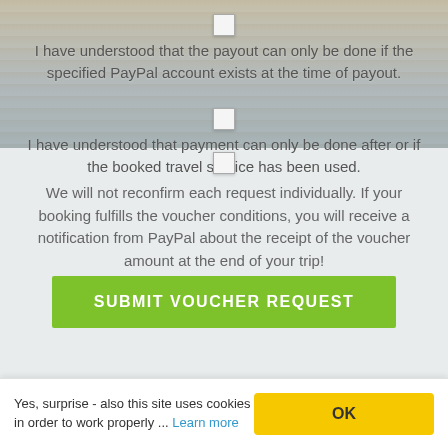[Figure (screenshot): Web form on water-background with checkboxes and text for PayPal voucher conditions]
I have understood that the payout can only be done if the specified PayPal account exists at the time of payout.
I have understood that payment can only be done after or if the booked travel service has been used.
We will not reconfirm each request individually. If your booking fulfills the voucher conditions, you will receive a notification from PayPal about the receipt of the voucher amount at the end of your trip!
SUBMIT VOUCHER REQUEST
Yes, surprise - also this site uses cookies in order to work properly ... Learn more
OK